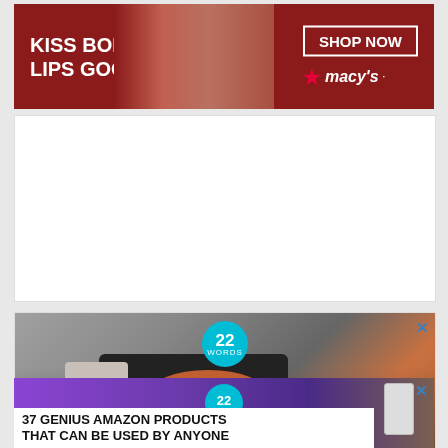[Figure (photo): Macy's advertisement banner: dark red/burgundy background with a woman's face showing red lips. Text reads 'KISS BORING LIPS GOODBYE' on the left, 'SHOP NOW' button and Macy's star logo on the right.]
Reply
[Figure (photo): 22 Words advertisement showing a hand holding a black kitchen gadget with an orange/tomato being processed. Has a '22 WORDS' teal circular badge and a 'CLOSE' button.]
[Figure (photo): 22 Words advertisement showing purple headphones on a wooden surface with a smartphone. Has a '22 WORDS' teal circular badge, an X close button, and text overlay reading '37 GENIUS AMAZON PRODUCTS THAT CAN BE USED BY ANYONE'.]